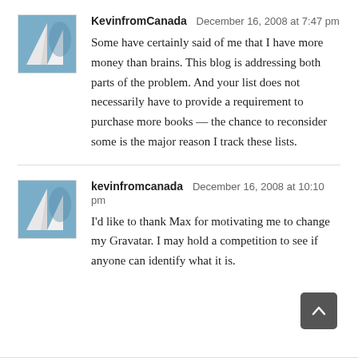[Figure (illustration): Avatar image showing abstract blue and white shapes resembling mountains or sails]
KevinfromCanada  December 16, 2008 at 7:47 pm
Some have certainly said of me that I have more money than brains. This blog is addressing both parts of the problem. And your list does not necessarily have to provide a requirement to purchase more books — the chance to reconsider some is the major reason I track these lists.
[Figure (illustration): Avatar image showing abstract blue and white shapes resembling mountains or sails]
kevinfromcanada  December 16, 2008 at 10:10 pm
I'd like to thank Max for motivating me to change my Gravatar. I may hold a competition to see if anyone can identify what it is.